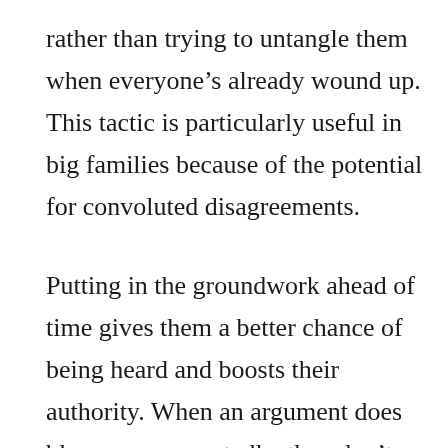rather than trying to untangle them when everyone's already wound up. This tactic is particularly useful in big families because of the potential for convoluted disagreements.

Putting in the groundwork ahead of time gives them a better chance of being heard and boosts their authority. When an argument does blow up unexpectedly, they don't get disheartened. They know they can think through what happened and work out how to prevent it next time. Sorted Parents are also